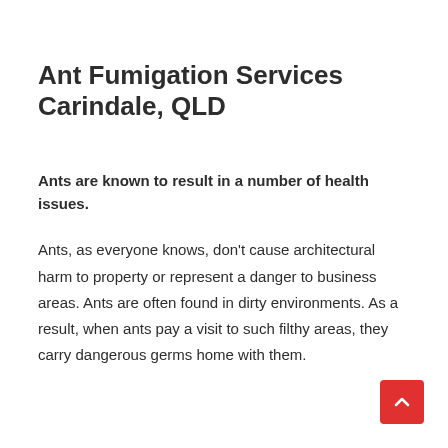Ant Fumigation Services Carindale, QLD
Ants are known to result in a number of health issues.
Ants, as everyone knows, don't cause architectural harm to property or represent a danger to business areas. Ants are often found in dirty environments. As a result, when ants pay a visit to such filthy areas, they carry dangerous germs home with them.